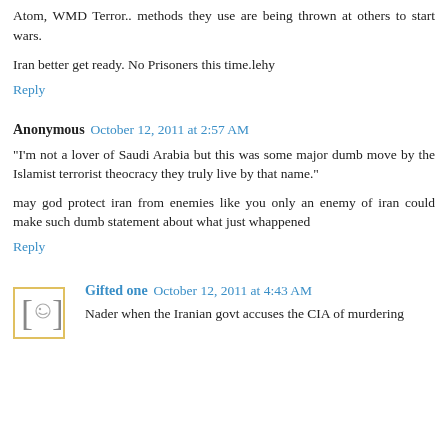Atom, WMD Terror.. methods they use are being thrown at others to start wars.
Iran better get ready. No Prisoners this time.lehy
Reply
Anonymous  October 12, 2011 at 2:57 AM
"I'm not a lover of Saudi Arabia but this was some major dumb move by the Islamist terrorist theocracy they truly live by that name."
may god protect iran from enemies like you only an enemy of iran could make such dumb statement about what just whappened
Reply
Gifted one  October 12, 2011 at 4:43 AM
Nader when the Iranian govt accuses the CIA of murdering